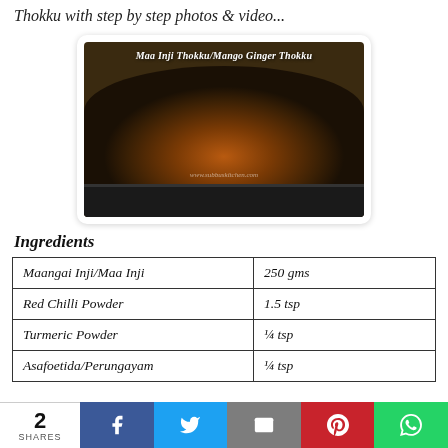Thokku with step by step photos & video...
[Figure (photo): Photo of Maa Inji Thokku / Mango Ginger Thokku cooking in a dark pan, with the dish title overlaid in white italic text at the top]
Ingredients
| Maangai Inji/Maa Inji | 250 gms |
| Red Chilli Powder | 1.5 tsp |
| Turmeric Powder | ¼ tsp |
| Asafoetida/Perungayam | ¼ tsp |
2 SHARES  [Facebook] [Twitter] [Email] [Pinterest] [WhatsApp]